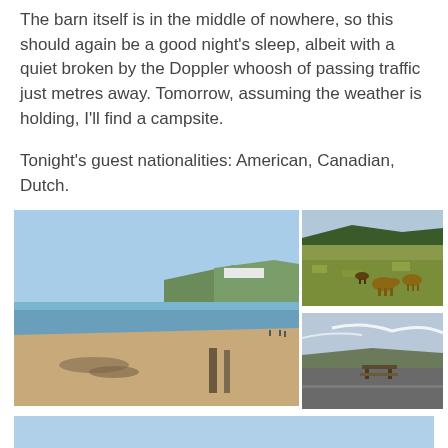The barn itself is in the middle of nowhere, so this should again be a good night's sleep, albeit with a quiet broken by the Doppler whoosh of passing traffic just metres away. Tomorrow, assuming the weather is holding, I'll find a campsite.
Tonight's guest nationalities: American, Canadian, Dutch.
[Figure (photo): Collage of outdoor photographs: a large beach scene with headland and blue sky on the left, two smaller photos stacked on the right showing cattle on moorland and a roadside bench with countryside view, and a partial bottom photo showing green hillside with blue sky.]